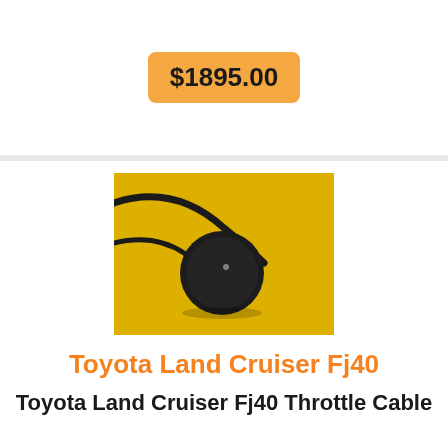$1895.00
[Figure (photo): A black circular throttle cable end fitting on a yellow background, with a black cable running along the top.]
Toyota Land Cruiser Fj40
Toyota Land Cruiser Fj40 Throttle Cable